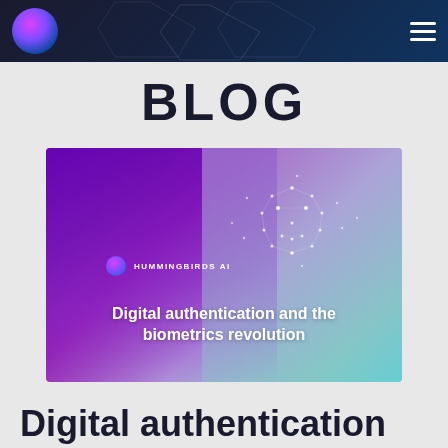HUMMINGBIRDS AI — navigation header with logo and hamburger menu
BLOG
[Figure (photo): Banner image showing a smiling woman using a smartphone with facial recognition dot overlay on a purple-to-teal gradient background, with Hummingbirds AI logo and text 'Digital authentication and the biometrics revolution']
Digital authentication